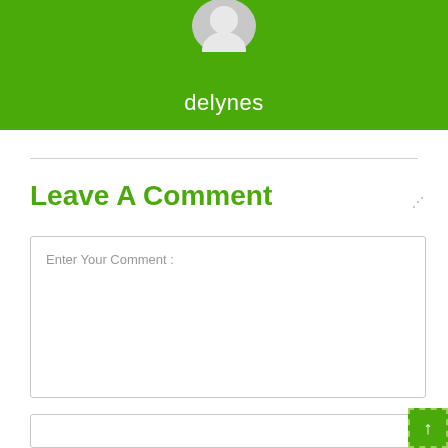[Figure (illustration): Green banner with a white circular avatar/profile icon at the top center and username 'delynes' in white text below it]
Leave A Comment
Enter Your Comment :
[Figure (screenshot): Empty comment text area input box with resize handle at bottom right]
[Figure (screenshot): Partial second input field at the bottom]
[Figure (other): Green scroll-to-top button with upward arrow in dashed border at bottom right corner]